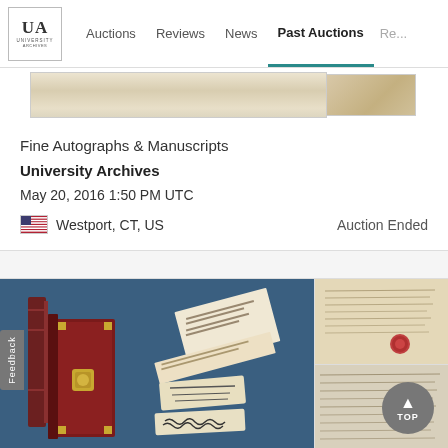UA University Archives | Auctions | Reviews | News | Past Auctions | Re...
[Figure (photo): Thumbnail strip showing a vintage document/paper strip on the left and a smaller image on the right]
Fine Autographs & Manuscripts
University Archives
May 20, 2016 1:50 PM UTC
Westport, CT, US
Auction Ended
[Figure (photo): Left main image: antique books and handwritten documents/autographs on blue background. Top right: aged letter with red wax seal. Bottom right: aged handwritten manuscript page.]